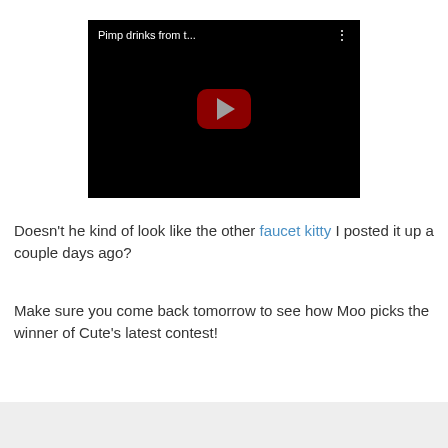[Figure (screenshot): YouTube video embed with black background showing title 'Pimp drinks from t...' with three-dot menu icon and YouTube play button in dark red]
Doesn't he kind of look like the other faucet kitty I posted it up a couple days ago?
Make sure you come back tomorrow to see how Moo picks the winner of Cute's latest contest!